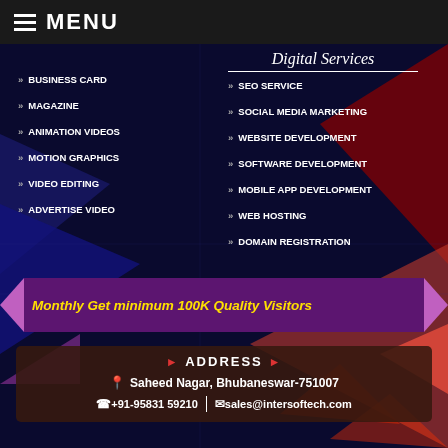≡ MENU
Digital Services
BUSINESS CARD
MAGAZINE
ANIMATION VIDEOS
MOTION GRAPHICS
VIDEO EDITING
ADVERTISE VIDEO
SEO SERVICE
SOCIAL MEDIA MARKETING
WEBSITE DEVELOPMENT
SOFTWARE DEVELOPMENT
MOBILE APP DEVELOPMENT
WEB HOSTING
DOMAIN REGISTRATION
Monthly Get minimum 100K Quality Visitors
ADDRESS
Saheed Nagar, Bhubaneswar-751007
+91-95831 59210 | sales@intersoftech.com